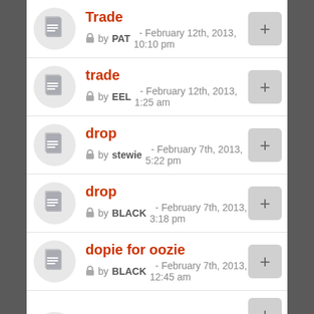Trade by PAT - February 12th, 2013, 10:10 pm
trade by EEL - February 12th, 2013, 1:25 am
drop by stewie - February 7th, 2013, 5:22 pm
drop by BLACK - February 7th, 2013, 3:18 pm
dopie for oozie by BLACK - February 7th, 2013, 12:45 am
skaliwag for siren by BLACK - February 4th, 2013, 2:18 pm
partial item (cut off at bottom)